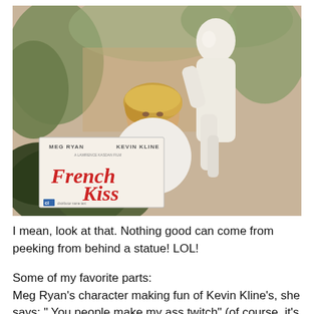[Figure (photo): Movie still from French Kiss (1995) showing Meg Ryan peeking from behind a white marble statue, with lush green plants in the background. In the lower left corner is the movie poster/logo showing 'MEG RYAN KEVIN KLINE' and 'French Kiss' in red script lettering with a 'ci' logo.]
I mean, look at that. Nothing good can come from peeking from behind a statue! LOL!
Some of my favorite parts:
Meg Ryan's character making fun of Kevin Kline's, she says: " You people make my ass twitch" (of course, it's said with a very over the